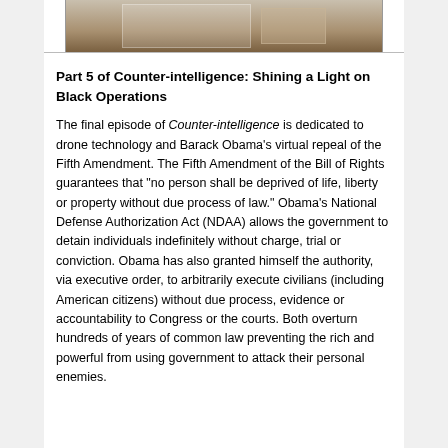[Figure (photo): Partial photograph showing what appears to be a room interior with wooden furniture or walls, cropped at top]
Part 5 of Counter-intelligence: Shining a Light on Black Operations
The final episode of Counter-intelligence is dedicated to drone technology and Barack Obama’s virtual repeal of the Fifth Amendment. The Fifth Amendment of the Bill of Rights guarantees that “no person shall be deprived of life, liberty or property without due process of law.” Obama’s National Defense Authorization Act (NDAA) allows the government to detain individuals indefinitely without charge, trial or conviction. Obama has also granted himself the authority, via executive order, to arbitrarily execute civilians (including American citizens) without due process, evidence or accountability to Congress or the courts. Both overturn hundreds of years of common law preventing the rich and powerful from using government to attack their personal enemies.